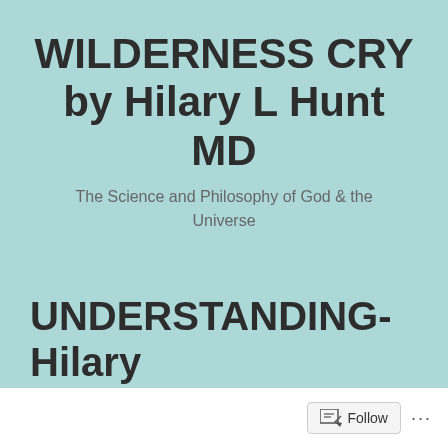WILDERNESS CRY by Hilary L Hunt MD
The Science and Philosophy of God & the Universe
UNDERSTANDING-Hilary L Hunt MD
Follow ...